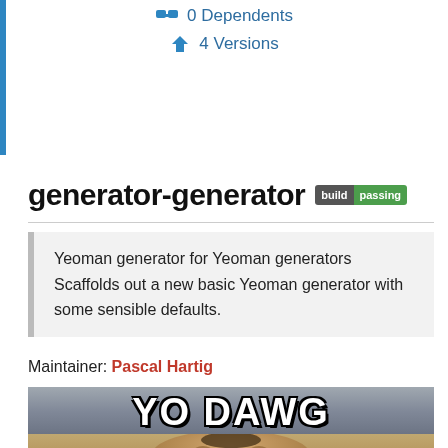0 Dependents
4 Versions
generator-generator build passing
Yeoman generator for Yeoman generators Scaffolds out a new basic Yeoman generator with some sensible defaults.
Maintainer: Pascal Hartig
[Figure (photo): Meme image with 'YO DAWG' text and a person's face below]